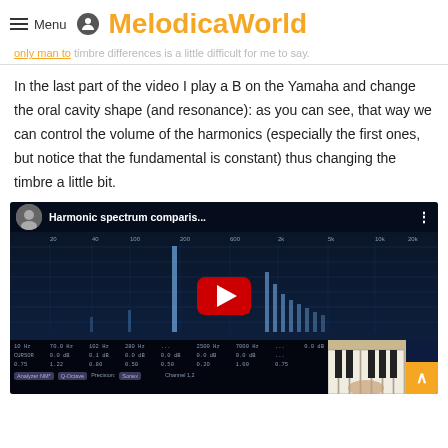Menu | MelodicaWorld
... only man to timbre differences is a little difficult for me to say.
In the last part of the video I play a B on the Yamaha and change the oral cavity shape (and resonance): as you can see, that way we can control the volume of the harmonics (especially the first ones, but notice that the fundamental is constant) thus changing the timbre a little bit.
[Figure (screenshot): YouTube video embed showing 'Harmonic spectrum comparis...' with a spectrum analyzer visualization displaying frequency bars on a dark blue background, a red YouTube play button in the center, and a melodica keyboard visible in the bottom right corner.]